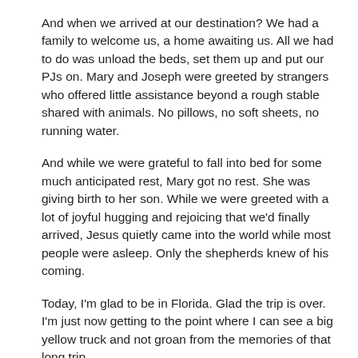And when we arrived at our destination?  We had a family to welcome us, a home awaiting us. All we had to do was unload the beds, set them up and put our PJs on. Mary and Joseph were greeted by strangers who offered little assistance beyond a rough stable shared with animals. No pillows, no soft sheets, no running water.
And while we were grateful to fall into bed for some much anticipated rest, Mary got no rest. She was giving birth to her son.  While we were greeted with a lot of joyful hugging and rejoicing that we'd finally arrived, Jesus quietly came into the world while most people were asleep.  Only the shepherds knew of his coming.
Today, I'm glad to be in Florida. Glad the trip is over. I'm just now getting to the point where I can see a big yellow truck and not groan from the memories of that long trip.